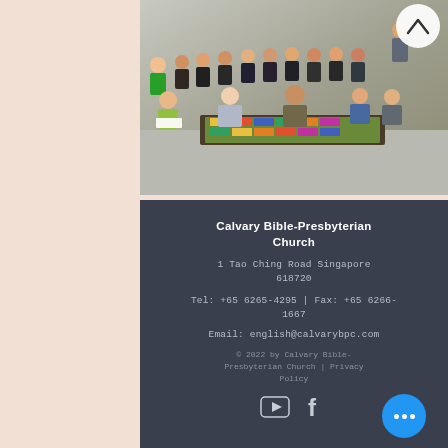[Figure (photo): Group photo of church members seated and standing, posing together indoors with a table in front displaying a board game or colorful display.]
Calvary Bible-Presbyterian Church
1 Tao Ching Road Singapore 618720
Tel: +65 6265-4295 | Fax: +65 6266-1667
Email: english@calvarybpc.com
© 2022 by Calvary Bible-Presbyterian Church | Privacy Policy